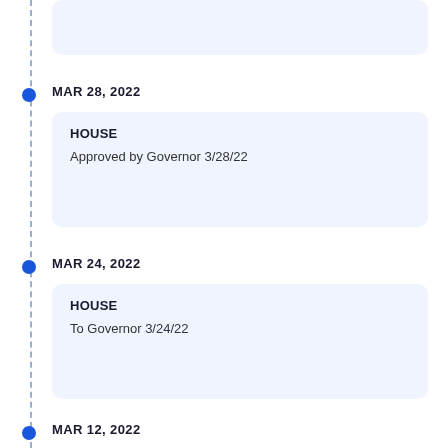MAR 28, 2022
HOUSE
Approved by Governor 3/28/22
MAR 24, 2022
HOUSE
To Governor 3/24/22
MAR 12, 2022